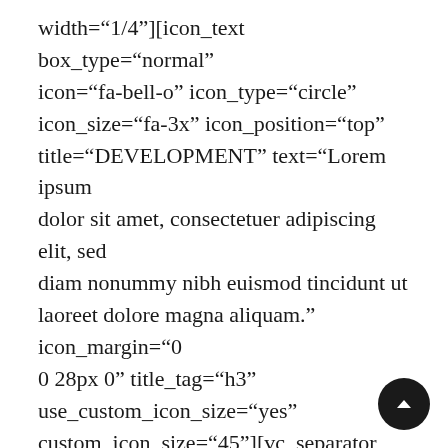width="1/4"][icon_text box_type="normal" icon="fa-bell-o" icon_type="circle" icon_size="fa-3x" icon_position="top" title="DEVELOPMENT" text="Lorem ipsum dolor sit amet, consectetuer adipiscing elit, sed diam nonummy nibh euismod tincidunt ut laoreet dolore magna aliquam." icon_margin="0 0 28px 0" title_tag="h3" use_custom_icon_size="yes" custom_icon_size="45"][vc_separator type="transparent" position="center" up="37" down="0"][/vc_column][vc_column width="1/4"][icon_text box_type="normal" icon="fa-rocket" icon_type="circle" icon_size="fa-3x" icon_position="top" title="CONTACT" text="Lorem ipsum dolor sit